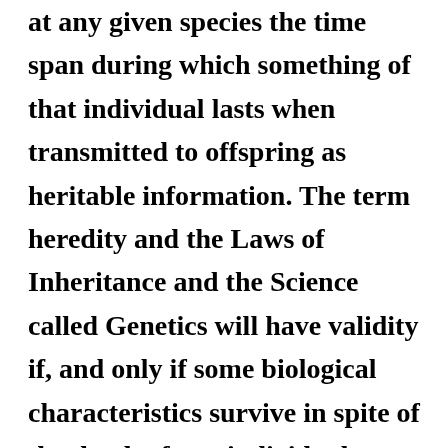at any given species the time span during which something of that individual lasts when transmitted to offspring as heritable information. The term heredity and the Laws of Inheritance and the Science called Genetics will have validity if, and only if some biological characteristics survive in spite of the death of any individual member of a species. It is very interesting to observe that there are several species of living things which have continuously lived for exceptionally long periods of time